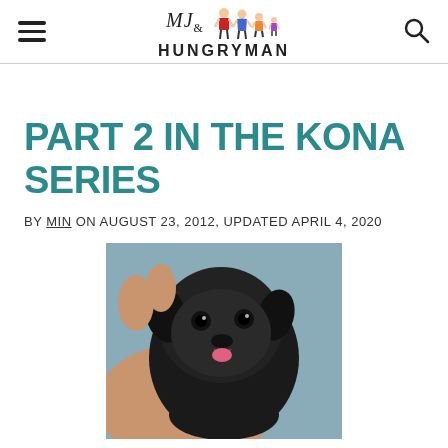MJ & HUNGRYMAN
PART 2 IN THE KONA SERIES
BY MIN ON AUGUST 23, 2012, UPDATED APRIL 4, 2020
[Figure (photo): A small black puppy being held in a person's hand, looking at the camera with bright eyes and a slightly open mouth showing a pink tongue, wearing what appears to be a small collar.]